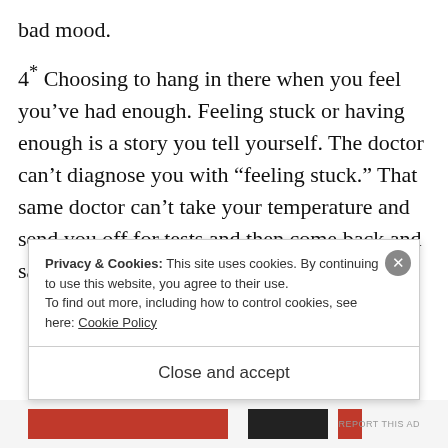bad mood.
4* Choosing to hang in there when you feel you've had enough. Feeling stuck or having enough is a story you tell yourself. The doctor can't diagnose you with “feeling stuck.” That same doctor can't take your temperature and send you off for tests and then come back and say “Well, the blood test says you've had
Privacy & Cookies: This site uses cookies. By continuing to use this website, you agree to their use.
To find out more, including how to control cookies, see here: Cookie Policy
Close and accept